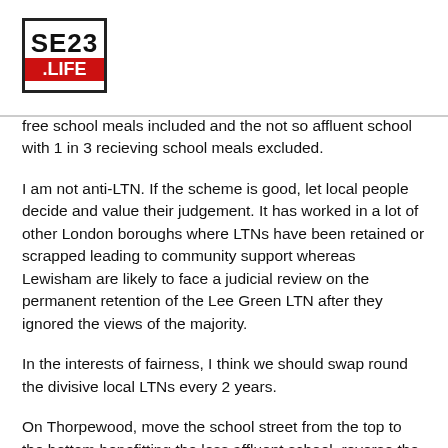SE23 .LIFE
free school meals included and the not so affluent school with 1 in 3 recieving school meals excluded.
I am not anti-LTN. If the scheme is good, let local people decide and value their judgement. It has worked in a lot of other London boroughs where LTNs have been retained or scrapped leading to community support whereas Lewisham are likely to face a judicial review on the permanent retention of the Lee Green LTN after they ignored the views of the majority.
In the interests of fairness, I think we should swap round the divisive local LTNs every 2 years.
On Thorpewood, move the school street from the top to the bottom benefitting the less affluent school, reverse the LTN/road closure so it stops downward traffic